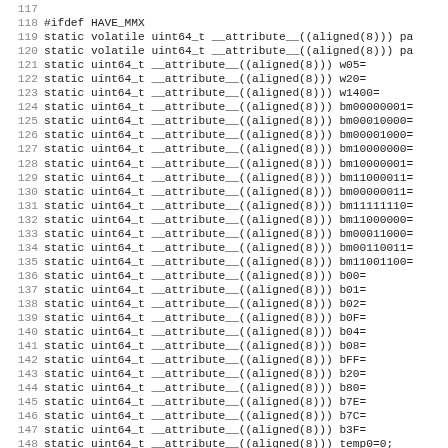Code listing lines 117-148 (C source code with MMX attributes and variable declarations)